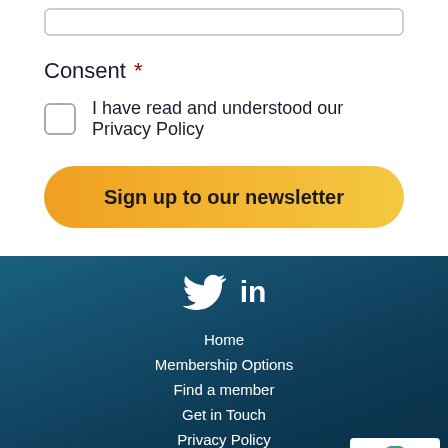Consent *
I have read and understood our Privacy Policy
Sign up to our newsletter
Home
Membership Options
Find a member
Get in Touch
Privacy Policy
Terms & Conditions